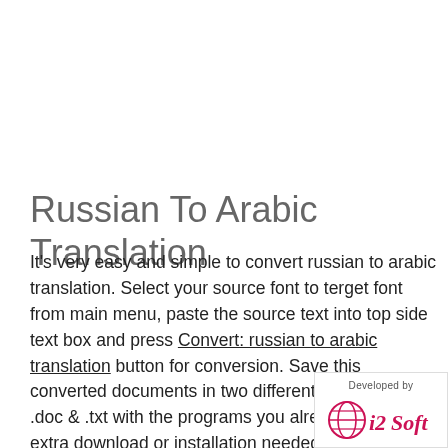Russian To Arabic Translation
It's very easy and simple to convert russian to arabic translation. Select your source font to terget font from main menu, paste the source text into top side text box and press Convert: russian to arabic translation button for conversion. Save this converted documents in two different formats like .doc & .txt with the programs you already have! No extra download or installation needed for russian to arabic translation conversion! You can easily email russian to arabic translation conver... share it on blogger, share it on twitter using the ... below.
[Figure (logo): Developed by i2Soft logo badge in bottom-right corner]